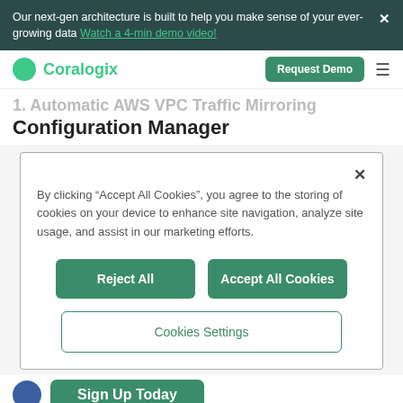Our next-gen architecture is built to help you make sense of your ever-growing data Watch a 4-min demo video!
[Figure (logo): Coralogix logo with green circle and green text]
Request Demo
1. Automatic AWS VPC Traffic Mirroring Configuration Manager
By clicking “Accept All Cookies”, you agree to the storing of cookies on your device to enhance site navigation, analyze site usage, and assist in our marketing efforts.
Reject All
Accept All Cookies
Cookies Settings
Sign Up Today